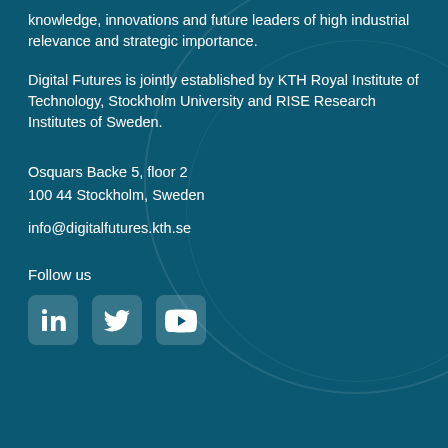knowledge, innovations and future leaders of high industrial relevance and strategic importance.
Digital Futures is jointly established by KTH Royal Institute of Technology, Stockholm University and RISE Research Institutes of Sweden.
Osquars Backe 5, floor 2
100 44 Stockholm, Sweden
info@digitalfutures.kth.se
Follow us
[Figure (infographic): Three social media icons: LinkedIn, Twitter, and YouTube]